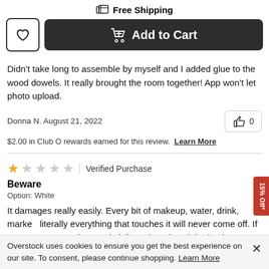Free Shipping
Add to Cart
Didn't take long to assemble by myself and I added glue to the wood dowels. It really brought the room together! App won't let photo upload.
Donna N. August 21, 2022
$2.00 in Club O rewards earned for this review. Learn More
1 star out of 5 | Verified Purchase
Beware
Option: White
It damages really easily. Every bit of makeup, water, drink, marker, literally everything that touches it will never come off. If someone sets a glass on it, it'll crack and peel the laminate on top. I'm replacing mine. It's all torn up and looks horrible, just from normal
15% Off*
Overstock uses cookies to ensure you get the best experience on our site. To consent, please continue shopping. Learn More